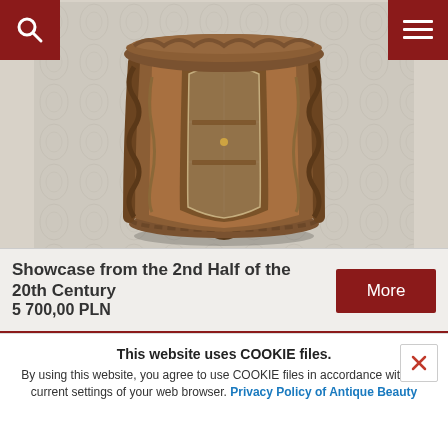[Figure (photo): Antique oval/cylindrical wooden showcase cabinet with glass door and carved decorations, photographed against a light floral wallpaper background. The cabinet has ornate rope-twist columns, carved feet, and a decorative gallery top.]
Showcase from the 2nd Half of the 20th Century
5 700,00 PLN
This website uses COOKIE files. By using this website, you agree to use COOKIE files in accordance with the current settings of your web browser. Privacy Policy of Antique Beauty